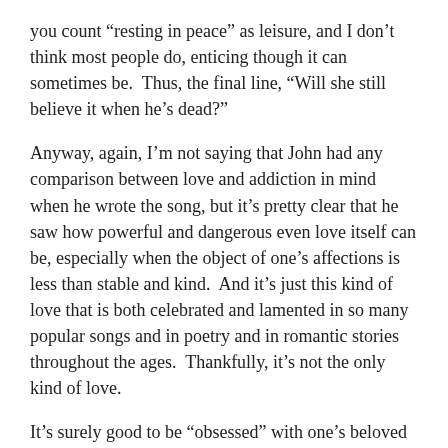you count “resting in peace” as leisure, and I don’t think most people do, enticing though it can sometimes be.  Thus, the final line, “Will she still believe it when he’s dead?”
Anyway, again, I’m not saying that John had any comparison between love and addiction in mind when he wrote the song, but it’s pretty clear that he saw how powerful and dangerous even love itself can be, especially when the object of one’s affections is less than stable and kind.  And it’s just this kind of love that is both celebrated and lamented in so many popular songs and in poetry and in romantic stories throughout the ages.  Thankfully, it’s not the only kind of love.
It’s surely good to be “obsessed” with one’s beloved in a certain sense, to hold them as a centrally important part of one’s life, and to be devoted to them (assuming the feeling is mutual).  But, of course, if one gives one’s devotion to a person who doesn’t share or return it, and who might even hold one in contempt, then pain is likely to far outweigh any pleasure, at